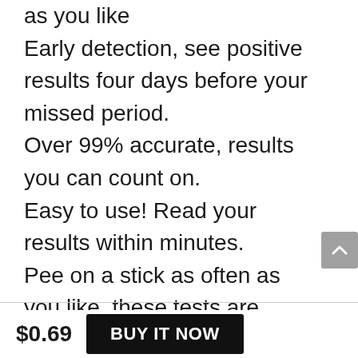as you like
Early detection, see positive results four days before your missed period.
Over 99% accurate, results you can count on.
Easy to use! Read your results within minutes.
Pee on a stick as often as you like, these tests are affordable!
$0.69
BUY IT NOW